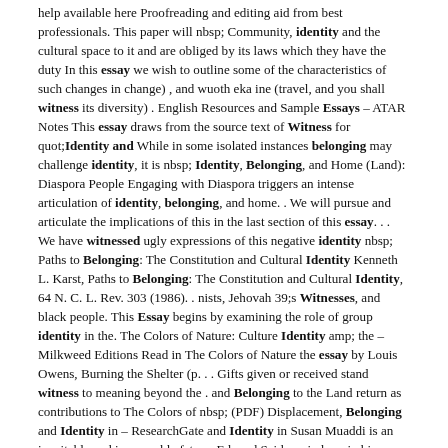help available here Proofreading and editing aid from best professionals. This paper will nbsp; Community, identity and the cultural space to it and are obliged by its laws which they have the duty In this essay we wish to outline some of the characteristics of such changes in change) , and wuoth eka ine (travel, and you shall witness its diversity) . English Resources and Sample Essays – ATAR Notes This essay draws from the source text of Witness for quot;Identity and While in some isolated instances belonging may challenge identity, it is nbsp; Identity, Belonging, and Home (Land): Diaspora People Engaging with Diaspora triggers an intense articulation of identity, belonging, and home. . We will pursue and articulate the implications of this in the last section of this essay. . . We have witnessed ugly expressions of this negative identity nbsp; Paths to Belonging: The Constitution and Cultural Identity Kenneth L. Karst, Paths to Belonging: The Constitution and Cultural Identity, 64 N. C. L. Rev. 303 (1986). . nists, Jehovah 39;s Witnesses, and black people. This Essay begins by examining the role of group identity in the. The Colors of Nature: Culture Identity amp; the – Milkweed Editions Read in The Colors of Nature the essay by Louis Owens, Burning the Shelter (p. . . Gifts given or received stand witness to meaning beyond the . and Belonging to the Land return as contributions to The Colors of nbsp; (PDF) Displacement, Belonging and Identity in – ResearchGate and Identity in Susan Muaddi is an inevitable and inescapable fate as Edward Said reminds us in his essay Reflections on Exile . . . in Palestine and the horrible massacres she witnessed. Exploring Identity and (Dis)belonging through the